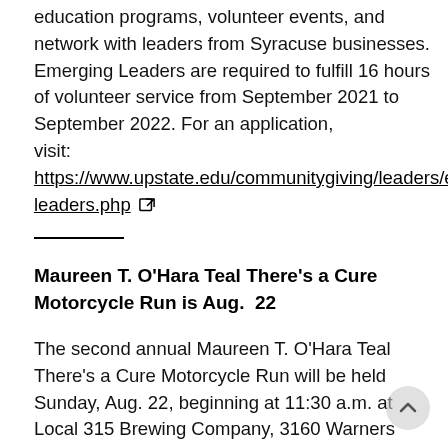education programs, volunteer events, and network with leaders from Syracuse businesses. Emerging Leaders are required to fulfill 16 hours of volunteer service from September 2021 to September 2022. For an application, visit: https://www.upstate.edu/communitygiving/leaders/e leaders.php [external link icon]
Maureen T. O'Hara Teal There's a Cure Motorcycle Run is Aug.  22
The second annual Maureen T. O'Hara Teal There's a Cure Motorcycle Run will be held Sunday, Aug. 22, beginning at 11:30 a.m. at Local 315 Brewing Company, 3160 Warners Road. An after-party starting at 12:30 p.m. features a chicken barbeque, live music and raffles. Proceeds benefit ovarian cancer research, including research at Upstate Medical University,